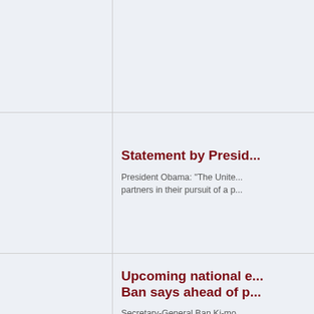[Figure (other): Gray background area top row, cropped news listing page]
Statement by Presid...
President Obama: "The Unite... partners in their pursuit of a p...
Upcoming national e... Ban says ahead of p...
Secretary-General Ban Ki-mo... elections for peace and stabil... to enable all citizens to partici...
Iraqis in the United S...